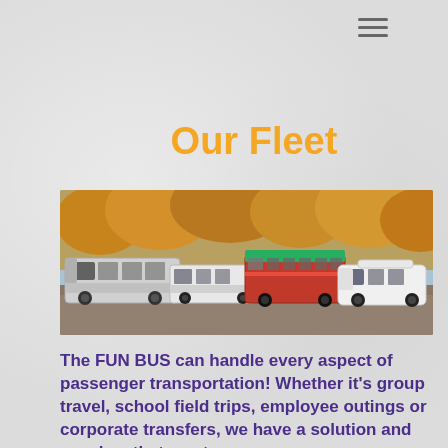[Figure (other): Hamburger menu icon with three horizontal lines]
Our Fleet
[Figure (photo): A fleet of buses and coaches parked in an outdoor area with autumn trees in background, including a large coach bus, a trolley-style bus, and a passenger van]
The FUN BUS can handle every aspect of passenger transportation! Whether it’s group travel, school field trips, employee outings or corporate transfers, we have a solution and coaches that meet your